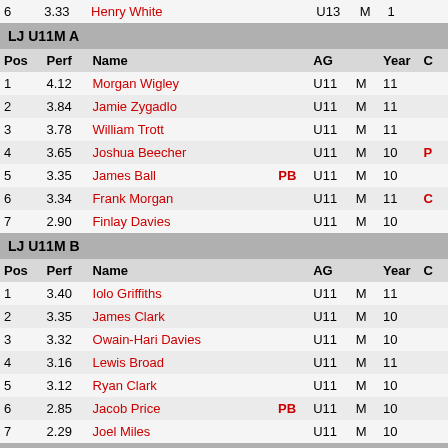| Pos | Perf | Name |  | AG |  | Year | C |
| --- | --- | --- | --- | --- | --- | --- | --- |
| 1 | 4.12 | Morgan Wigley |  | U11 | M | 11 |  |
| 2 | 3.84 | Jamie Zygadlo |  | U11 | M | 11 |  |
| 3 | 3.78 | William Trott |  | U11 | M | 11 |  |
| 4 | 3.65 | Joshua Beecher |  | U11 | M | 10 | P |
| 5 | 3.35 | James Ball | PB | U11 | M | 10 |  |
| 6 | 3.34 | Frank Morgan |  | U11 | M | 11 | C |
| 7 | 2.90 | Finlay Davies |  | U11 | M | 10 |  |
LJ U11M B
| Pos | Perf | Name |  | AG |  | Year | C |
| --- | --- | --- | --- | --- | --- | --- | --- |
| 1 | 3.40 | Iolo Griffiths |  | U11 | M | 11 |  |
| 2 | 3.35 | James Clark |  | U11 | M | 10 |  |
| 3 | 3.32 | Owain-Hari Davies |  | U11 | M | 10 |  |
| 4 | 3.16 | Lewis Broad |  | U11 | M | 11 |  |
| 5 | 3.12 | Ryan Clark |  | U11 | M | 10 |  |
| 6 | 2.85 | Jacob Price | PB | U11 | M | 10 |  |
| 7 | 2.29 | Joel Miles |  | U11 | M | 10 |  |
LJ U15W A
| Pos | Perf | Name |  | AG |  | Year | C |
| --- | --- | --- | --- | --- | --- | --- | --- |
| 1 | 4.93 | Emily Thomas |  | U15 | W | 2 | E |
| 2 | 4.65 | Ellie May Stonehewer |  | U15 | W | 2 |  |
| 3 | 4.29 | Hannah Davies |  | U15 | W | 2 |  |